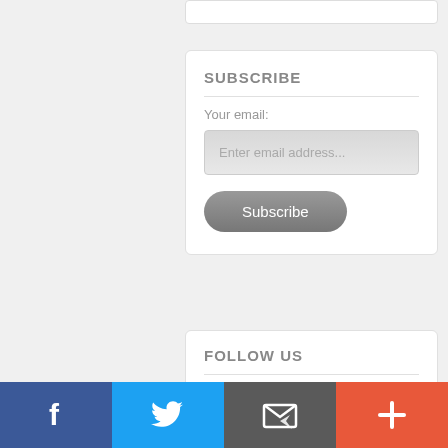SUBSCRIBE
Your email:
Enter email address...
Subscribe
FOLLOW US
"Twitter" "Facebook" "YouTube" займ на карту
[Figure (infographic): Social media share bar at bottom with Facebook (blue), Twitter (light blue), Email/envelope (dark gray), and Plus/share (red-orange) icon buttons]